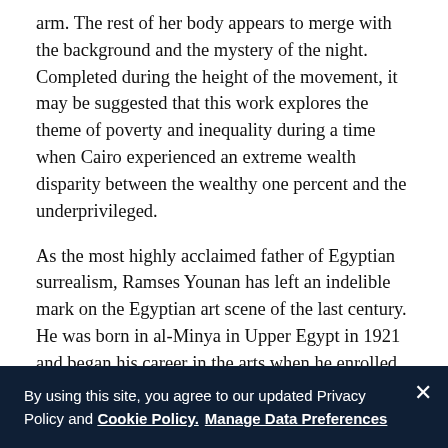arm. The rest of her body appears to merge with the background and the mystery of the night. Completed during the height of the movement, it may be suggested that this work explores the theme of poverty and inequality during a time when Cairo experienced an extreme wealth disparity between the wealthy one percent and the underprivileged.
As the most highly acclaimed father of Egyptian surrealism, Ramses Younan has left an indelible mark on the Egyptian art scene of the last century. He was born in al-Minya in Upper Egypt in 1921 and began his career in the arts when he enrolled the School Fine Arts in Cairo in 1929. He continued working in the arts by working as an art teacher in secondary schools in Cairo. Throughout 1933 to 1938, Younan was a regular participant of the group shows entitled Salon du Caire which were hosted by the Friends of the Fine Arts Society.
By using this site, you agree to our updated Privacy Policy and Cookie Policy. Manage Data Preferences